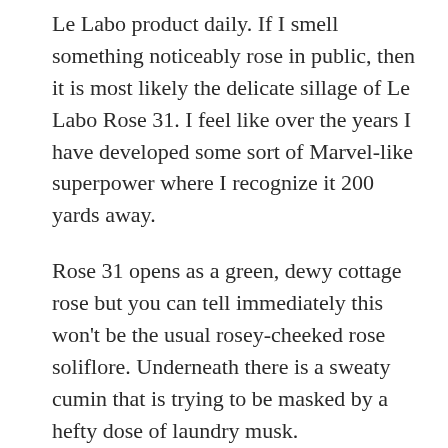Le Labo product daily. If I smell something noticeably rose in public, then it is most likely the delicate sillage of Le Labo Rose 31. I feel like over the years I have developed some sort of Marvel-like superpower where I recognize it 200 yards away.
Rose 31 opens as a green, dewy cottage rose but you can tell immediately this won't be the usual rosey-cheeked rose soliflore. Underneath there is a sweaty cumin that is trying to be masked by a hefty dose of laundry musk. Do note the end was cut short. It...